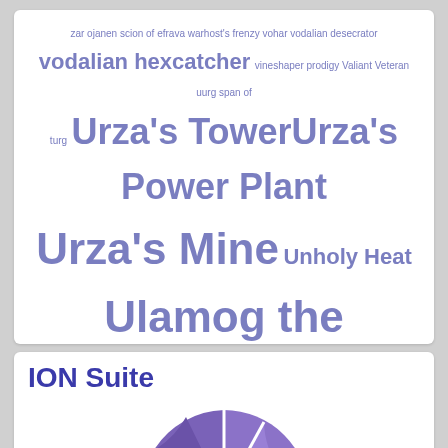[Figure (other): Word cloud with gaming/card game terms in shades of purple/blue, varying font sizes indicating frequency. Terms include: zar, ojanen, scion of efrava, warhost's frenzy, vohar, vodalian desecrator, vodalian hexcatcher, vineshaper prodigy, Valiant Veteran, uurg, span of, turg, Urza's Tower, Urza's Power Plant, Urza's Mine, Unholy Heat, Ulamog the Infinite Gyre, tribute to urborg, the phasing of zhalfir, Terminus, temporary lockdown, tatyova steward of tides, talas lookout, Take Inventory, Tabernacle of the Pendrell Vale]
[Figure (pie-chart): Partial pie chart visible at bottom of page, purple/violet colored slices, associated with ION Suite header]
ION Suite